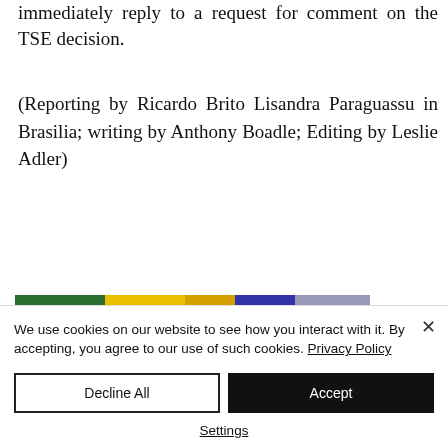immediately reply to a request for comment on the TSE decision.
(Reporting by Ricardo Brito Lisandra Paraguassu in Brasilia; writing by Anthony Boadle; Editing by Leslie Adler)
[Figure (photo): Partial photo showing what appears to be Brazilian flags or symbols with green, yellow, blue and purple colors]
We use cookies on our website to see how you interact with it. By accepting, you agree to our use of such cookies. Privacy Policy
Decline All
Accept
Settings